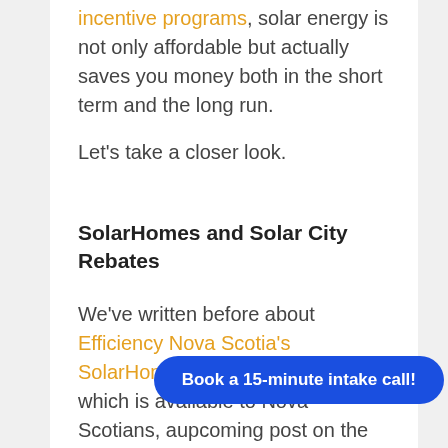incentive programs, solar energy is not only affordable but actually saves you money both in the short term and the long run.
Let's take a closer look.
SolarHomes and Solar City Rebates
We've written before about Efficiency Nova Scotia's SolarHomes rebate program, which is available to Nova Scotians, a[nd an] upcoming post on the SolarCity
[Figure (other): Blue rounded rectangle CTA button with white bold text: 'Book a 15-minute intake call!']